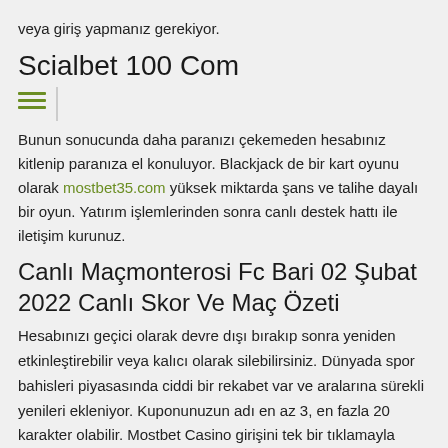veya giriş yapmanız gerekiyor.
Scialbet 100 Com
Bunun sonucunda daha paranızı çekemeden hesabınız kitlenip paranıza el konuluyor. Blackjack de bir kart oyunu olarak mostbet35.com yüksek miktarda şans ve talihe dayalı bir oyun. Yatırım işlemlerinden sonra canlı destek hattı ile iletişim kurunuz.
Canlı Maçmonterosi Fc Bari 02 Şubat 2022 Canlı Skor Ve Maç Özeti
Hesabınızı geçici olarak devre dışı bırakıp sonra yeniden etkinleştirebilir veya kalıcı olarak silebilirsiniz. Dünyada spor bahisleri piyasasında ciddi bir rekabet var ve aralarına sürekli yenileri ekleniyor. Kuponunuzun adı en az 3, en fazla 20 karakter olabilir. Mostbet Casino girişini tek bir tıklamayla geçmek için, bir